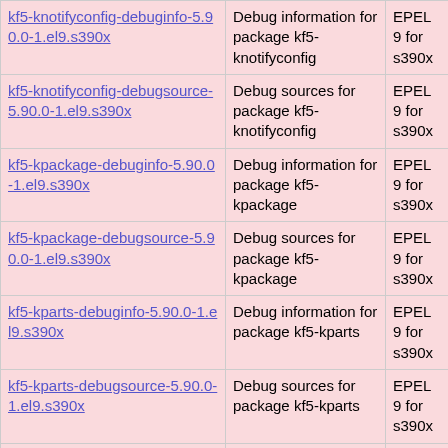| Package | Description | Repo |
| --- | --- | --- |
| kf5-knotifyconfig-debuginfo-5.90.0-1.el9.s390x | Debug information for package kf5-knotifyconfig | EPEL 9 for s390x |
| kf5-knotifyconfig-debugsource-5.90.0-1.el9.s390x | Debug sources for package kf5-knotifyconfig | EPEL 9 for s390x |
| kf5-kpackage-debuginfo-5.90.0-1.el9.s390x | Debug information for package kf5-kpackage | EPEL 9 for s390x |
| kf5-kpackage-debugsource-5.90.0-1.el9.s390x | Debug sources for package kf5-kpackage | EPEL 9 for s390x |
| kf5-kparts-debuginfo-5.90.0-1.el9.s390x | Debug information for package kf5-kparts | EPEL 9 for s390x |
| kf5-kparts-debugsource-5.90.0-1.el9.s390x | Debug sources for package kf5-kparts | EPEL 9 for s390x |
| kf5-kpeople-debuginfo-5.90.0-1.el9.s390x | Debug information for package kf5-kpeople | EPEL 9 for s390x |
| kf5-kpeople-debugsource-5.90.0-1.el9.s390x | Debug sources for package kf5-kpeople | EPEL 9 for s390x |